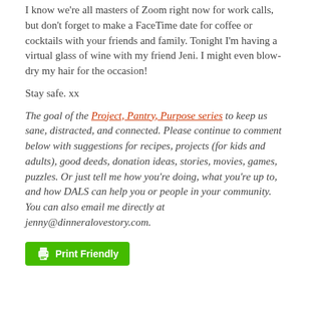I know we're all masters of Zoom right now for work calls, but don't forget to make a FaceTime date for coffee or cocktails with your friends and family. Tonight I'm having a virtual glass of wine with my friend Jeni. I might even blow-dry my hair for the occasion!
Stay safe. xx
The goal of the Project, Pantry, Purpose series to keep us sane, distracted, and connected. Please continue to comment below with suggestions for recipes, projects (for kids and adults), good deeds, donation ideas, stories, movies, games, puzzles. Or just tell me how you're doing, what you're up to, and how DALS can help you or people in your community. You can also email me directly at jenny@dinneralovestory.com.
[Figure (other): Green 'Print Friendly' button with printer icon]